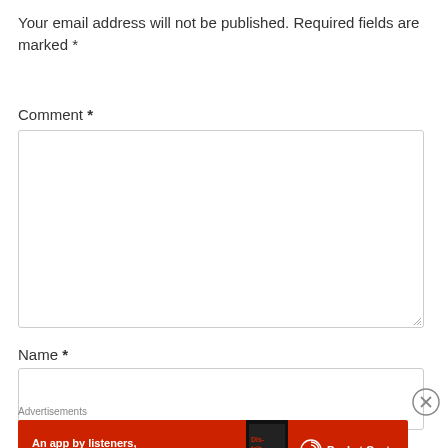Your email address will not be published. Required fields are marked *
Comment *
[Figure (screenshot): Empty comment textarea input box with resize handle]
Name *
[Figure (screenshot): Empty name text input box]
[Figure (screenshot): Close/X button circle]
Advertisements
[Figure (infographic): Pocket Casts advertisement banner: red background with text 'An app by listeners, for listeners.' and Pocket Casts logo with phone graphic]